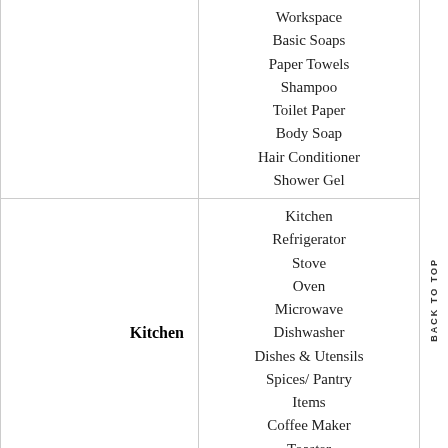| Category | Items |
| --- | --- |
|  | Workspace
Basic Soaps
Paper Towels
Shampoo
Toilet Paper
Body Soap
Hair Conditioner
Shower Gel |
| Kitchen | Kitchen
Refrigerator
Stove
Oven
Microwave
Dishwasher
Dishes & Utensils
Spices/ Pantry Items
Coffee Maker
Toaster |